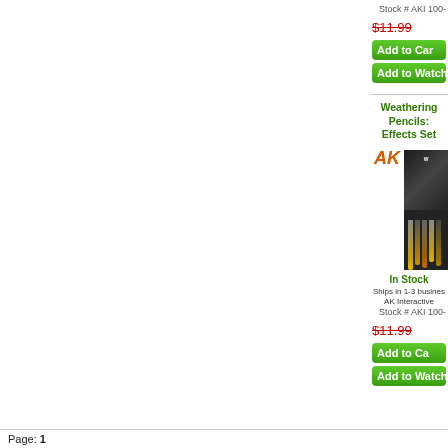Stock # AKI 100-
$11.99
[Figure (screenshot): Green 'Add to Cart' button (partially visible, cropped)]
[Figure (screenshot): Green 'Add to Watchlist' button (partially visible, cropped)]
Weathering Pencils: Effects Set
[Figure (logo): AK Interactive logo in orange italic bold text 'AK']
[Figure (photo): Product photo of AK Interactive Weathering Pencils Effects Set box with pencils fanned out in front]
In Stock
Ships in 1-3 business
AK Interactive
Stock # AKI 100-
$11.99
[Figure (screenshot): Green 'Add to Cart' button (partially visible, cropped)]
[Figure (screenshot): Green 'Add to Watchlist' button (partially visible, cropped)]
Page: 1